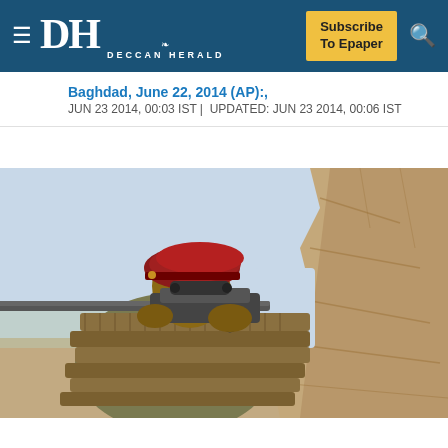DH DECCAN HERALD | Subscribe To Epaper
Baghdad, June 22, 2014 (AP):,
JUN 23 2014, 00:03 IST | UPDATED: JUN 23 2014, 00:06 IST
[Figure (photo): A soldier wearing a red beret and military fatigues, draped with bullet ammunition belts, aims a machine gun through a gap in a stone/rock wall. The background shows a hazy desert landscape.]